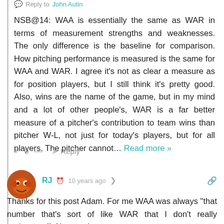Reply to John Autin
NSB@14: WAA is essentially the same as WAR in terms of measurement strengths and weaknesses. The only difference is the baseline for comparison. How pitching performance is measured is the same for WAA and WAR. I agree it’s not as clear a measure as for position players, but I still think it’s pretty good. Also, wins are the name of the game, but in my mind and a lot of other people’s, WAR is a far better measure of a pitcher’s contribution to team wins than pitcher W-L, not just for today’s players, but for all players. The pitcher cannot... Read more »
+ 0 —  Reply
[Figure (illustration): User avatar: orange cartoon character face (RJ)]
RJ  10 years ago
Thanks for this post Adam. For me WAA was always “that number that’s sort of like WAR that I don’t really understand”. No more!